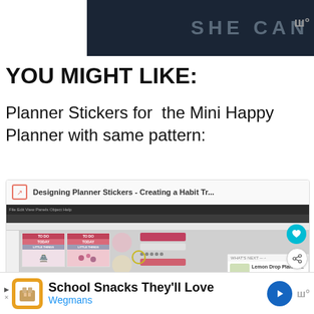[Figure (screenshot): SHE CAN STEM banner with dark background]
YOU MIGHT LIKE:
Planner Stickers for the Mini Happy Planner with same pattern:
[Figure (screenshot): Screenshot of Silhouette Studio software showing planner sticker design with Japanese-themed elements, pink floral patterns, TO DO / TODAY / LITTLE THINGS labels, and circular sticker elements. Card header reads: Designing Planner Stickers - Creating a Habit Tr...]
[Figure (screenshot): Bottom advertisement banner: School Snacks They'll Love - Wegmans]